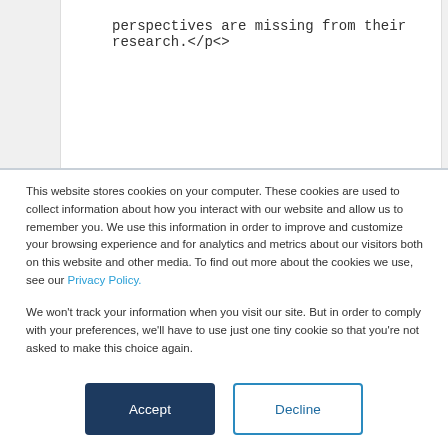perspectives are missing from their research.</p<>
This website stores cookies on your computer. These cookies are used to collect information about how you interact with our website and allow us to remember you. We use this information in order to improve and customize your browsing experience and for analytics and metrics about our visitors both on this website and other media. To find out more about the cookies we use, see our Privacy Policy.
We won't track your information when you visit our site. But in order to comply with your preferences, we'll have to use just one tiny cookie so that you're not asked to make this choice again.
Accept
Decline